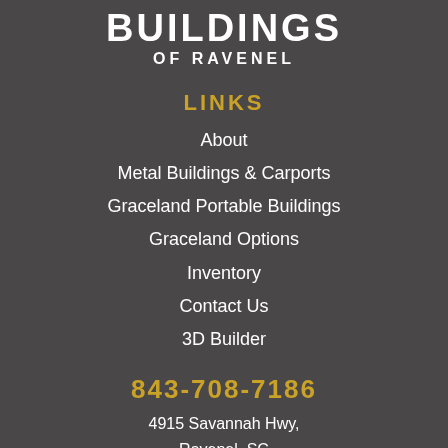BUILDINGS OF RAVENEL
LINKS
About
Metal Buildings & Carports
Graceland Portable Buildings
Graceland Options
Inventory
Contact Us
3D Builder
843-708-7186
4915 Savannah Hwy, Ravenel, SC